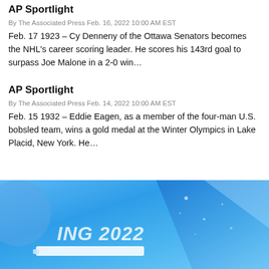AP Sportlight
By The Associated Press Feb. 16, 2022 10:00 AM EST
Feb. 17 1923 – Cy Denneny of the Ottawa Senators becomes the NHL's career scoring leader. He scores his 143rd goal to surpass Joe Malone in a 2-0 win…
AP Sportlight
By The Associated Press Feb. 14, 2022 10:00 AM EST
Feb. 15 1932 – Eddie Eagen, as a member of the four-man U.S. bobsled team, wins a gold medal at the Winter Olympics in Lake Placid, New York. He…
[Figure (photo): Photo showing a blue Olympic backdrop with 'BEIJING 2022' branding and Winter Olympics imagery in blue tones]